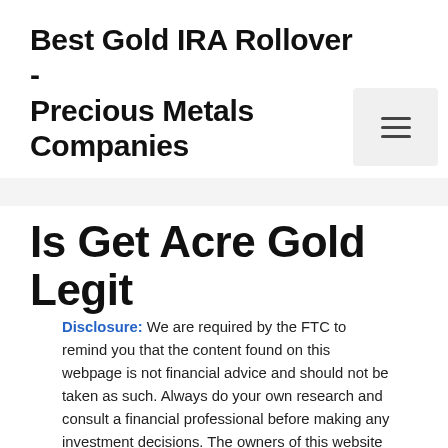Best Gold IRA Rollover - Precious Metals Companies
Is Get Acre Gold Legit
Disclosure: We are required by the FTC to remind you that the content found on this webpage is not financial advice and should not be taken as such. Always do your own research and consult a financial professional before making any investment decisions. The owners of this website may be compensated by Goldco and/or any other company to recommend them. The